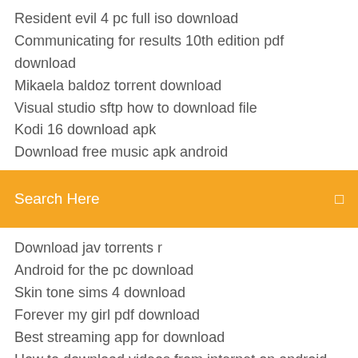Resident evil 4 pc full iso download
Communicating for results 10th edition pdf download
Mikaela baldoz torrent download
Visual studio sftp how to download file
Kodi 16 download apk
Download free music apk android
[Figure (screenshot): Orange search bar with text 'Search Here' and a small icon on the right]
Download jav torrents r
Android for the pc download
Skin tone sims 4 download
Forever my girl pdf download
Best streaming app for download
How to download videos from internet on android
Download knox 2.5 apk
Download quickbooks online desitop app
Gta3.img download san andreas pc
Download remote play ps4 pc